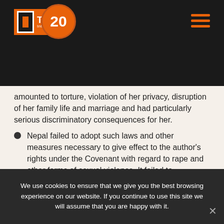TRIAL International — 20 years
amounted to torture, violation of her privacy, disruption of her family life and marriage and had particularly serious discriminatory consequences for her.
Nepal failed to adopt such laws and other measures necessary to give effect to the author's rights under the Covenant with regard to rape and other forms of sexual violence. It failed to criminalize torture and repeal all laws that grant impunity to alleged perpetrators of acts of torture
Nepali authorities failed to conduct a thorough, independent, impartial and prompt investigation into the author's allegations of torture and sexual violence
We use cookies to ensure that we give you the best browsing experience on our website. If you continue to use this site we will assume that you are happy with it.